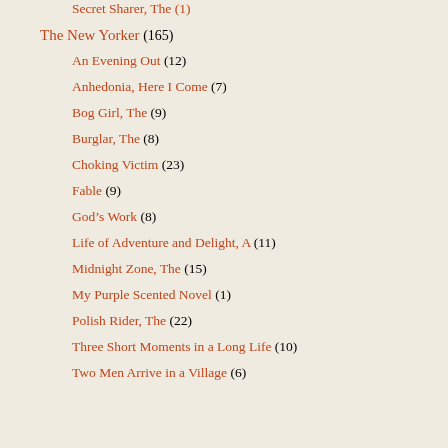Secret Sharer, The (1)
The New Yorker (165)
An Evening Out (12)
Anhedonia, Here I Come (7)
Bog Girl, The (9)
Burglar, The (8)
Choking Victim (23)
Fable (9)
God’s Work (8)
Life of Adventure and Delight, A (11)
Midnight Zone, The (15)
My Purple Scented Novel (1)
Polish Rider, The (22)
Three Short Moments in a Long Life (10)
Two Men Arrive in a Village (6)